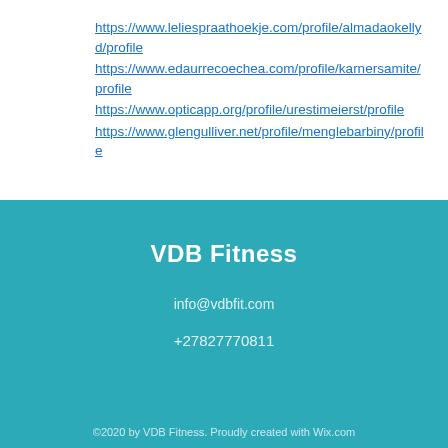https://www.leliespraathoekje.com/profile/almadaokellyd/profile
https://www.edaurrecoechea.com/profile/karnersamite/profile
https://www.opticapp.org/profile/urestimeierst/profile
https://www.glengulliver.net/profile/menglebarbiny/profile
VDB Fitness
info@vdbfit.com
+27827770811
©2020 by VDB Fitness. Proudly created with Wix.com